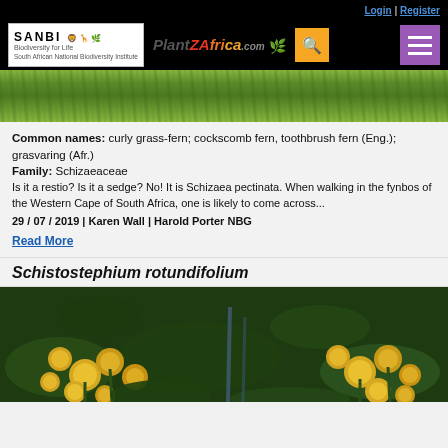Login | Register
[Figure (photo): SANBI and PlantZAfrica.com website header with logo, search button, and menu button on black background]
[Figure (photo): Close-up photo of curly grass-fern (Schizaea pectinata) green foliage]
Common names: curly grass-fern; cockscomb fern, toothbrush fern (Eng.); grasvaring (Afr.)
Family: Schizaeaceae
Is it a restio? Is it a sedge? No! It is Schizaea pectinata. When walking in the fynbos of the Western Cape of South Africa, one is likely to come across...
29 / 07 / 2019 | Karen Wall | Harold Porter NBG
Read More
Schistostephium rotundifolium
[Figure (photo): Close-up photo of Schistostephium rotundifolium with yellow button-like flowers and green foliage]